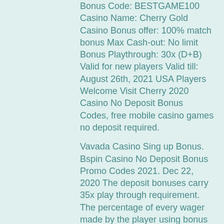Bonus Code: BESTGAME100 Casino Name: Cherry Gold Casino Bonus offer: 100% match bonus Max Cash-out: No limit Bonus Playthrough: 30x (D+B) Valid for new players Valid till: August 26th, 2021 USA Players Welcome Visit Cherry 2020 Casino No Deposit Bonus Codes, free mobile casino games no deposit required.
Vavada Casino Sing up Bonus. Bspin Casino No Deposit Bonus Promo Codes 2021. Dec 22, 2020 The deposit bonuses carry 35x play through requirement. The percentage of every wager made by the player using bonus funds will vary based on the game they are playing i, online casino real money kenya.
Once you pass the verification, you'll get 10 free spins on squealin' riches game. Bet it all casino no deposit bonus codes → texas holdem pokergame may be fun,